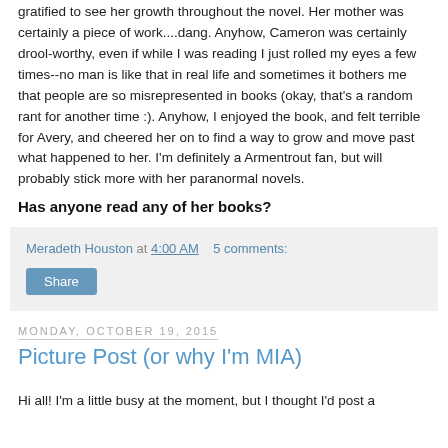gratified to see her growth throughout the novel. Her mother was certainly a piece of work....dang. Anyhow, Cameron was certainly drool-worthy, even if while I was reading I just rolled my eyes a few times--no man is like that in real life and sometimes it bothers me that people are so misrepresented in books (okay, that's a random rant for another time :). Anyhow, I enjoyed the book, and felt terrible for Avery, and cheered her on to find a way to grow and move past what happened to her. I'm definitely a Armentrout fan, but will probably stick more with her paranormal novels.
Has anyone read any of her books?
Meradeth Houston at 4:00 AM   5 comments:
Share
Monday, October 19, 2015
Picture Post (or why I'm MIA)
Hi all! I'm a little busy at the moment, but I thought I'd post a